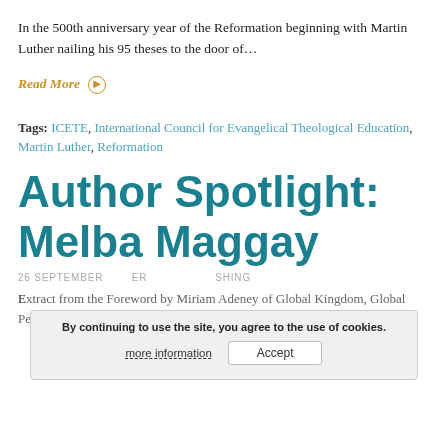In the 500th anniversary year of the Reformation beginning with Martin Luther nailing his 95 theses to the door of…
Read More ▷
Tags: ICETE, International Council for Evangelical Theological Education, Martin Luther, Reformation
Author Spotlight: Melba Maggay
26 SEPTEMBER   ER   SHING
By continuing to use the site, you agree to the use of cookies.
more information   Accept
Extract from the Foreword by Miriam Adeney of Global Kingdom, Global People Love Is Local On